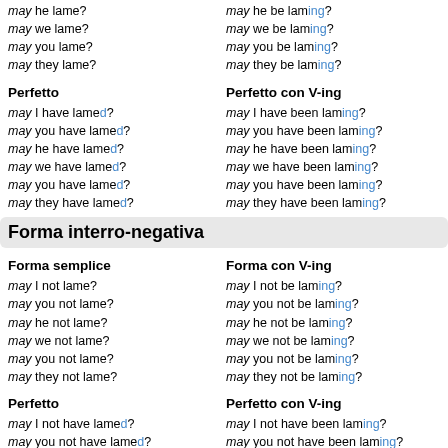may he lame?
may he be laming?
may we lame?
may we be laming?
may you lame?
may you be laming?
may they lame?
may they be laming?
Perfetto
Perfetto con V-ing
may I have lamed?
may I have been laming?
may you have lamed?
may you have been laming?
may he have lamed?
may he have been laming?
may we have lamed?
may we have been laming?
may you have lamed?
may you have been laming?
may they have lamed?
may they have been laming?
Forma interro-negativa
Forma semplice
Forma con V-ing
may I not lame?
may I not be laming?
may you not lame?
may you not be laming?
may he not lame?
may he not be laming?
may we not lame?
may we not be laming?
may you not lame?
may you not be laming?
may they not lame?
may they not be laming?
Perfetto
Perfetto con V-ing
may I not have lamed?
may I not have been laming?
may you not have lamed?
may you not have been laming?
may he not have lamed?
may he not have been laming?